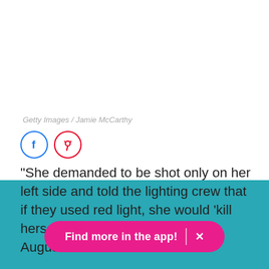Getty Images / Jamie McCarthy
[Figure (other): Social media share icons: Facebook (blue circle) and Pinterest (red circle)]
“She demanded to be shot only on her left side and told the lighting crew that if they used red light, she would ‘kill herself,’” one source said in late August.
Find more in the app! ×